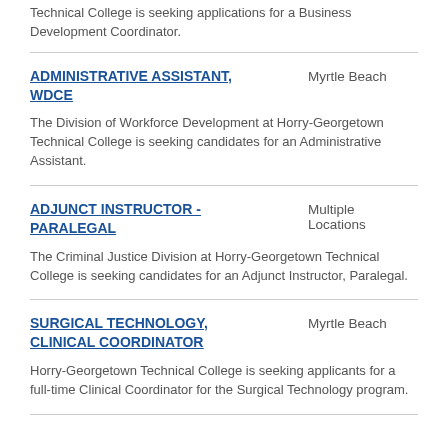Technical College is seeking applications for a Business Development Coordinator.
ADMINISTRATIVE ASSISTANT, WDCE
Myrtle Beach
The Division of Workforce Development at Horry-Georgetown Technical College is seeking candidates for an Administrative Assistant.
ADJUNCT INSTRUCTOR - PARALEGAL
Multiple Locations
The Criminal Justice Division at Horry-Georgetown Technical College is seeking candidates for an Adjunct Instructor, Paralegal.
SURGICAL TECHNOLOGY, CLINICAL COORDINATOR
Myrtle Beach
Horry-Georgetown Technical College is seeking applicants for a full-time Clinical Coordinator for the Surgical Technology program.